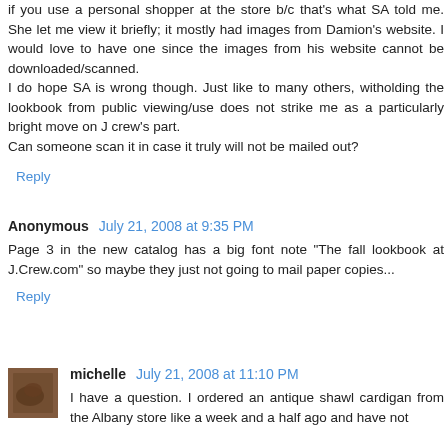if you use a personal shopper at the store b/c that's what SA told me. She let me view it briefly; it mostly had images from Damion's website. I would love to have one since the images from his website cannot be downloaded/scanned.
I do hope SA is wrong though. Just like to many others, witholding the lookbook from public viewing/use does not strike me as a particularly bright move on J crew's part.
Can someone scan it in case it truly will not be mailed out?
Reply
Anonymous July 21, 2008 at 9:35 PM
Page 3 in the new catalog has a big font note "The fall lookbook at J.Crew.com" so maybe they just not going to mail paper copies...
Reply
michelle July 21, 2008 at 11:10 PM
I have a question. I ordered an antique shawl cardigan from the Albany store like a week and a half ago and have not